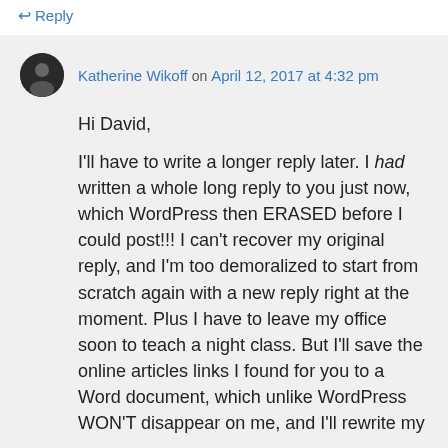↩ Reply
Katherine Wikoff on April 12, 2017 at 4:32 pm
Hi David,

I'll have to write a longer reply later. I had written a whole long reply to you just now, which WordPress then ERASED before I could post!!! I can't recover my original reply, and I'm too demoralized to start from scratch again with a new reply right at the moment. Plus I have to leave my office soon to teach a night class. But I'll save the online articles links I found for you to a Word document, which unlike WordPress WON'T disappear on me, and I'll rewrite my